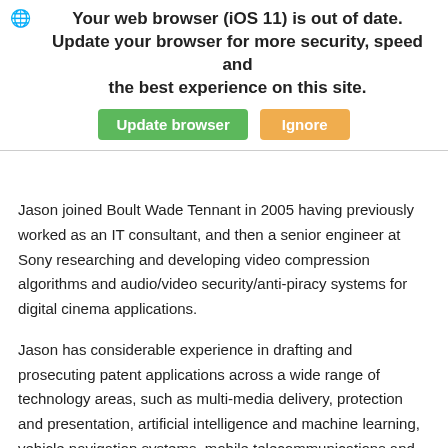[Figure (screenshot): Browser update banner overlay showing 'Your web browser (iOS 11) is out of date. Update your browser for more security, speed and the best experience on this site.' with green 'Update browser' and orange 'Ignore' buttons.]
Jason is a Chartered Patent Attorney and European Patent Attorney in the ... and Electrical Engineering
Jason joined Boult Wade Tennant in 2005 having previously worked as an IT consultant, and then a senior engineer at Sony researching and developing video compression algorithms and audio/video security/anti-piracy systems for digital cinema applications.
Jason has considerable experience in drafting and prosecuting patent applications across a wide range of technology areas, such as multi-media delivery, protection and presentation, artificial intelligence and machine learning, vehicle navigation systems, mobile telecommunications and search-engines. He particularly enjoys leveraging his previous experience to help applicants with patents in areas such as computer software and systems, video and audio processing, data compression, cryptography and information security, data communications, computer gaming and professional broadcast systems. Jason also enjoys the more contentious areas of